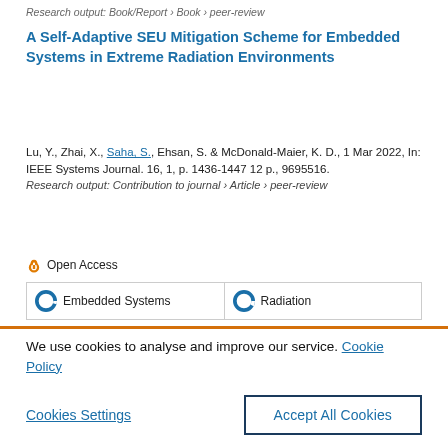Research output: Book/Report › Book › peer-review
A Self-Adaptive SEU Mitigation Scheme for Embedded Systems in Extreme Radiation Environments
Lu, Y., Zhai, X., Saha, S., Ehsan, S. & McDonald-Maier, K. D., 1 Mar 2022, In: IEEE Systems Journal. 16, 1, p. 1436-1447 12 p., 9695516.
Research output: Contribution to journal › Article › peer-review
Open Access
Embedded Systems
Radiation
We use cookies to analyse and improve our service. Cookie Policy
Cookies Settings
Accept All Cookies